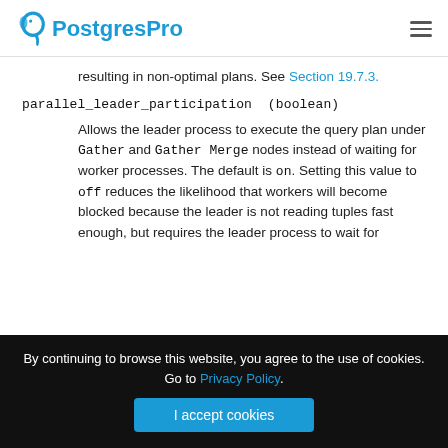PostgresPro
resulting in non-optimal plans. See Section 19.7.3.
parallel_leader_participation (boolean)
Allows the leader process to execute the query plan under Gather and Gather Merge nodes instead of waiting for worker processes. The default is on. Setting this value to off reduces the likelihood that workers will become blocked because the leader is not reading tuples fast enough, but requires the leader process to wait for
By continuing to browse this website, you agree to the use of cookies. Go to Privacy Policy.